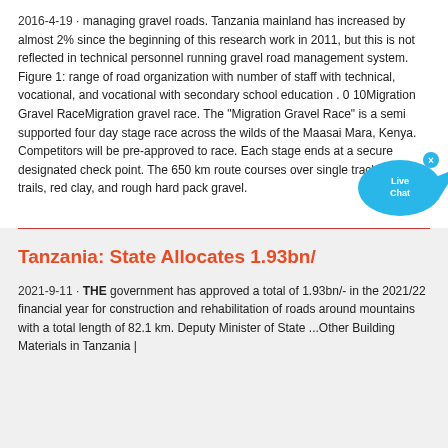2016-4-19 · managing gravel roads. Tanzania mainland has increased by almost 2% since the beginning of this research work in 2011, but this is not reflected in technical personnel running gravel road management system. Figure 1: range of road organization with number of staff with technical, vocational, and vocational with secondary school education . 0 10Migration Gravel RaceMigration gravel race. The "Migration Gravel Race" is a semi supported four day stage race across the wilds of the Maasai Mara, Kenya. Competitors will be pre-approved to race. Each stage ends at a secure designated check point. The 650 km route courses over single track, game trails, red clay, and rough hard pack gravel.
Tanzania: State Allocates 1.93bn/
2021-9-11 · THE government has approved a total of 1.93bn/- in the 2021/22 financial year for construction and rehabilitation of roads around mountains with a total length of 82.1 km. Deputy Minister of State ...Other Building Materials in Tanzania |